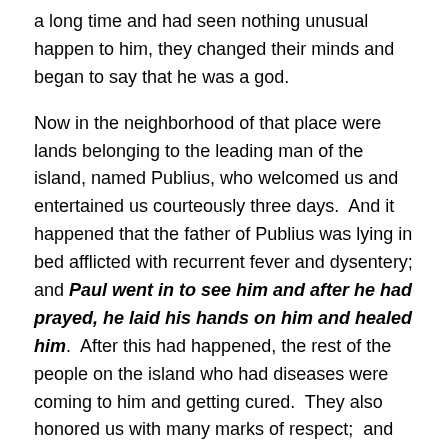a long time and had seen nothing unusual happen to him, they changed their minds and began to say that he was a god.
Now in the neighborhood of that place were lands belonging to the leading man of the island, named Publius, who welcomed us and entertained us courteously three days.  And it happened that the father of Publius was lying in bed afflicted with recurrent fever and dysentery;  and Paul went in to see him and after he had prayed, he laid his hands on him and healed him.  After this had happened, the rest of the people on the island who had diseases were coming to him and getting cured.  They also honored us with many marks of respect;  and when we were setting sail, they supplied us with all we needed."  Acts 28:1-10.